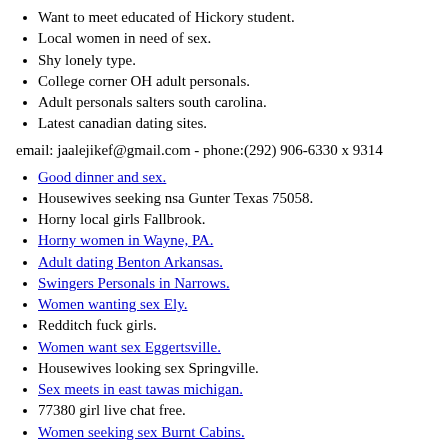Want to meet educated of Hickory student.
Local women in need of sex.
Shy lonely type.
College corner OH adult personals.
Adult personals salters south carolina.
Latest canadian dating sites.
email: jaalejikef@gmail.com - phone:(292) 906-6330 x 9314
Good dinner and sex.
Housewives seeking nsa Gunter Texas 75058.
Horny local girls Fallbrook.
Horny women in Wayne, PA.
Adult dating Benton Arkansas.
Swingers Personals in Narrows.
Women wanting sex Ely.
Redditch fuck girls.
Women want sex Eggertsville.
Housewives looking sex Springville.
Sex meets in east tawas michigan.
77380 girl live chat free.
Women seeking sex Burnt Cabins.
Charleston South Carolina sex chat.
Hot wants sex Tucson.
Horney senior seeking lonely chat.
Oral for lady s.